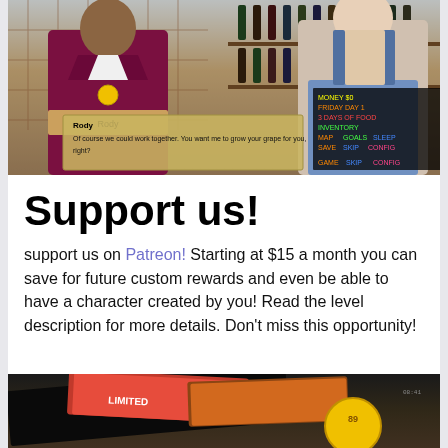[Figure (screenshot): Screenshot of a visual novel style game showing two characters in a wine shop/bar setting. Left character wears a maroon suit with a gold medal. Right character is muscular wearing blue overalls. A dialogue box shows game text. HUD in top right shows Money $0, Friday Day 1, 3 Days of Food, Inventory, Map Goals Sleep, Save Skip Config.]
Support us!
support us on Patreon! Starting at $15 a month you can save for future custom rewards and even be able to have a character created by you! Read the level description for more details. Don't miss this opportunity!
[Figure (photo): Partial photo of physical merchandise/cards on a dark wooden surface, with colorful packaging visible and a circular yellow logo on the right side.]